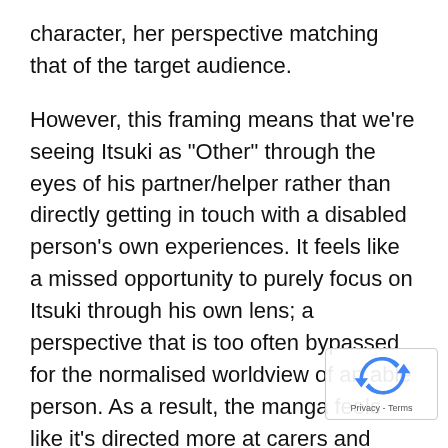character, her perspective matching that of the target audience.
However, this framing means that we're seeing Itsuki as "Other" through the eyes of his partner/helper rather than directly getting in touch with a disabled person's own experiences. It feels like a missed opportunity to purely focus on Itsuki through his own lens; a perspective that is too often bypassed for the normalised worldview of an able person. As a result, the manga feels like it's directed more at carers and abled people than a potential disabled reader.
Because Tsugumi is in her mid-twenties, the does deal with more adult themes, such as care.